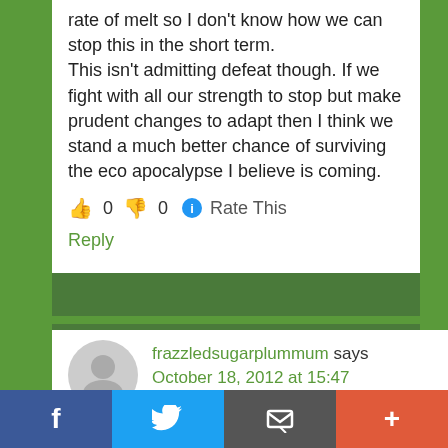rate of melt so I don't know how we can stop this in the short term.
This isn't admitting defeat though. If we fight with all our strength to stop but make prudent changes to adapt then I think we stand a much better chance of surviving the eco apocalypse I believe is coming.
👍 0 👎 0 ℹ Rate This
Reply
frazzledsugarplummum says
October 18, 2012 at 15:47